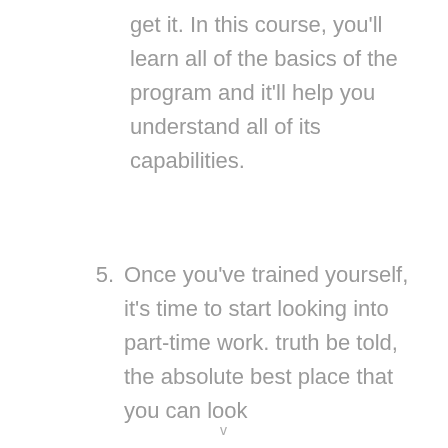get it. In this course, you'll learn all of the basics of the program and it'll help you understand all of its capabilities.
5. Once you've trained yourself, it's time to start looking into part-time work. truth be told, the absolute best place that you can look
v